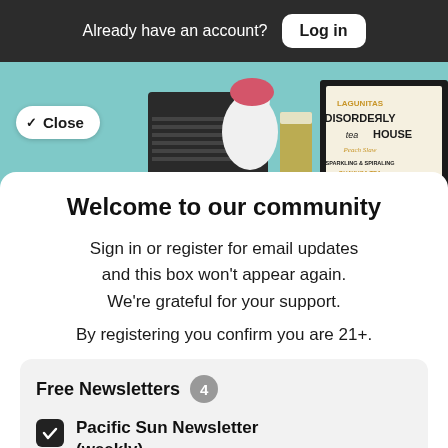Already have an account? Log in
[Figure (photo): Photo of Lagunitas Disorderly Tea House beer advertisement with illustrated dog character on teal background]
Welcome to our community
Sign in or register for email updates and this box won't appear again. We're grateful for your support.
By registering you confirm you are 21+.
Free Newsletters 4
Pacific Sun Newsletter (weekly) — News stories, arts and dining